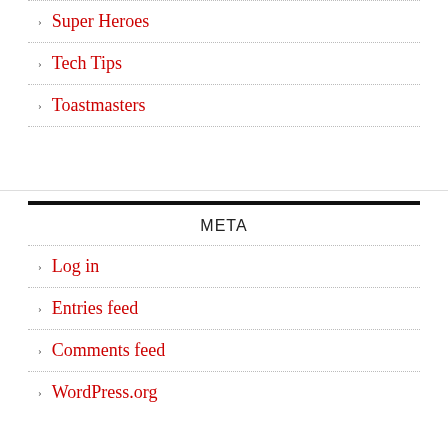Super Heroes
Tech Tips
Toastmasters
META
Log in
Entries feed
Comments feed
WordPress.org